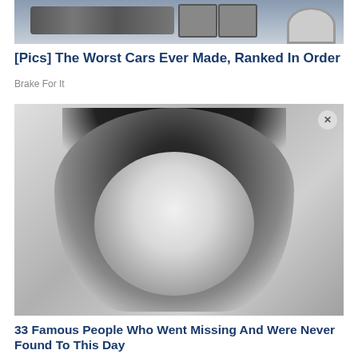[Figure (photo): Front view of a car, showing grille, headlights, and wheel on a light blue/grey background]
[Pics] The Worst Cars Ever Made, Ranked In Order
Brake For It
[Figure (photo): Black and white portrait photo of a young person with medium-length dark hair, smiling slightly, with a close button (x) in top right corner]
33 Famous People Who Went Missing And Were Never Found To This Day